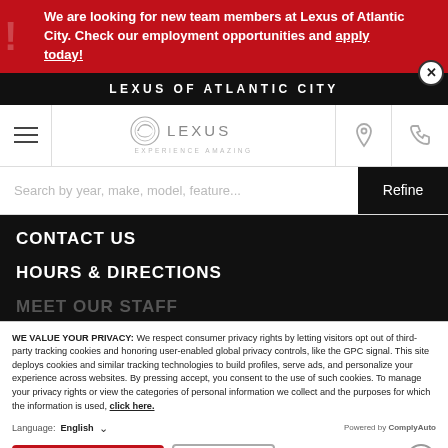We are looking for new team members at Lexus of Atlantic City. Check our employment opportunities and apply today!
LEXUS OF ATLANTIC CITY
[Figure (logo): Lexus logo with spindle grille emblem and EXPERIENCE AMAZING tagline]
CONTACT US
HOURS & DIRECTIONS
MEET OUR STAFF
WE VALUE YOUR PRIVACY: We respect consumer privacy rights by letting visitors opt out of third-party tracking cookies and honoring user-enabled global privacy controls, like the GPC signal. This site deploys cookies and similar tracking technologies to build profiles, serve ads, and personalize your experience across websites. By pressing accept, you consent to the use of such cookies. To manage your privacy rights or view the categories of personal information we collect and the purposes for which the information is used, click here.
Language: English
Powered by ComplyAuto
Accept and Continue →
Privacy Policy